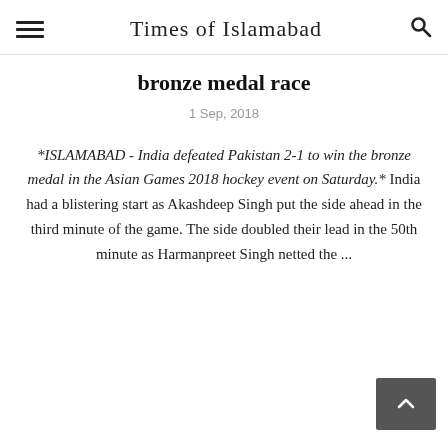Times of Islamabad
bronze medal race
1 Sep, 2018
*ISLAMABAD - India defeated Pakistan 2-1 to win the bronze medal in the Asian Games 2018 hockey event on Saturday.* India had a blistering start as Akashdeep Singh put the side ahead in the third minute of the game. The side doubled their lead in the 50th minute as Harmanpreet Singh netted the ...